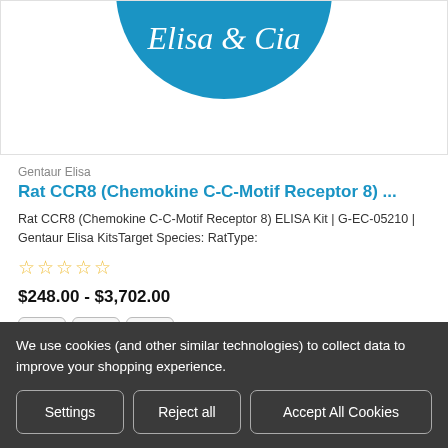[Figure (logo): Elisa & Cia blue circular logo, partially visible at top]
Gentaur Elisa
Rat CCR8 (Chemokine C-C-Motif Receptor 8) ...
Rat CCR8 (Chemokine C-C-Motif Receptor 8) ELISA Kit | G-EC-05210 | Gentaur Elisa KitsTarget Species: RatType:
☆☆☆☆☆
$248.00 - $3,702.00
We use cookies (and other similar technologies) to collect data to improve your shopping experience.
Settings
Reject all
Accept All Cookies